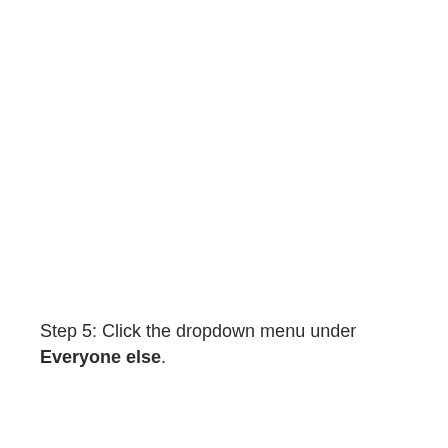Step 5: Click the dropdown menu under Everyone else.